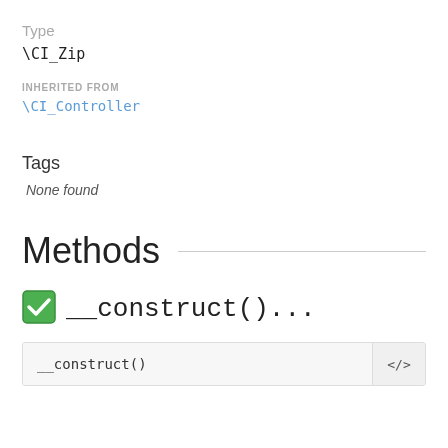Type
\CI_Zip
INHERITED FROM
\CI_Controller
Tags
None found
Methods
__construct()...
| __construct() |  |
| --- | --- |
| __construct() | </> |